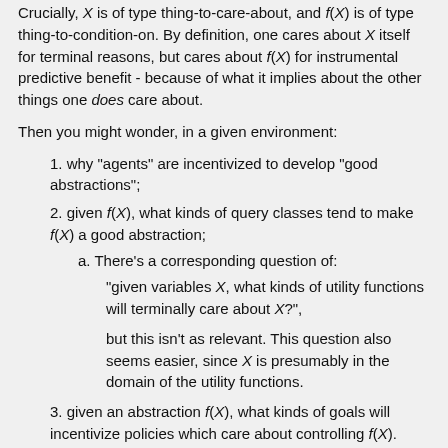Crucially, X is of type thing-to-care-about, and f(X) is of type thing-to-condition-on. By definition, one cares about X itself for terminal reasons, but cares about f(X) for instrumental predictive benefit - because of what it implies about the other things one does care about.
Then you might wonder, in a given environment:
1. why "agents" are incentivized to develop "good abstractions";
2. given f(X), what kinds of query classes tend to make f(X) a good abstraction;
a. There's a corresponding question of:
"given variables X, what kinds of utility functions will terminally care about X?",
but this isn't as relevant. This question also seems easier, since X is presumably in the domain of the utility functions.
3. given an abstraction f(X), what kinds of goals will incentivize policies which care about controlling f(X).